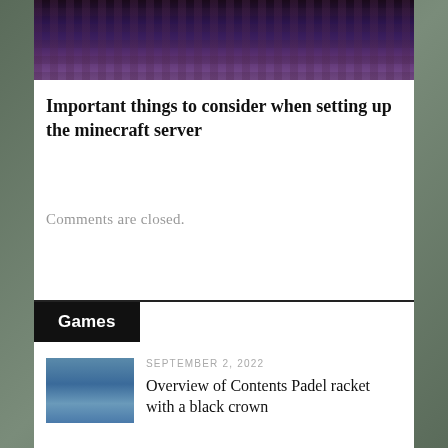[Figure (screenshot): Minecraft game screenshot showing glowing blue armored characters in a dark purple/maroon blocky environment]
Important things to consider when setting up the minecraft server
Comments are closed.
Games
[Figure (photo): Photo of a person playing padel on a blue court]
SEPTEMBER 2, 2022
Overview of Contents Padel racket with a black crown